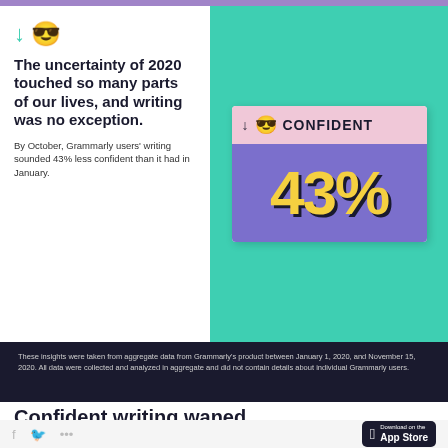[Figure (infographic): Grammarly infographic showing 43% less confident writing in October 2020 vs January. Left white column with arrow-down emoji, bold text, and subtext. Right teal column with a card showing pink header with down arrow, sunglasses emoji and 'CONFIDENT' label, and purple body with large yellow '43%' text with dark shadow.]
These insights were taken from aggregate data from Grammarly's product between January 1, 2020, and November 15, 2020. All data were collected and analyzed in aggregate and did not contain details about individual Grammarly users.
Confident writing waned
Download on the App Store